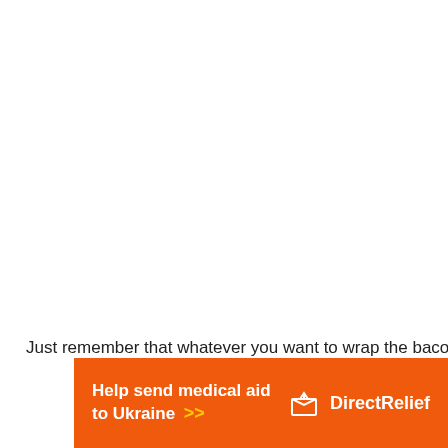Just remember that whatever you want to wrap the bacon
[Figure (infographic): Orange Direct Relief advertisement banner: 'Help send medical aid to Ukraine >>' with Direct Relief logo (white box icon) on the right]